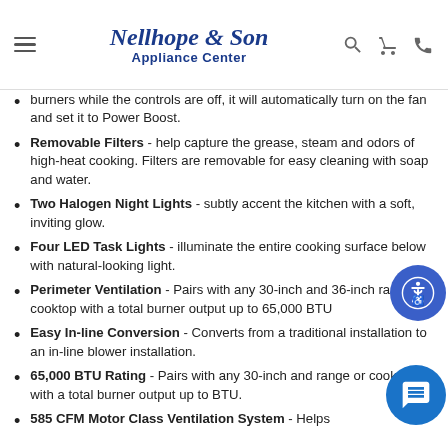Nellhope & Son Appliance Center
burners while the controls are off, it will automatically turn on the fan and set it to Power Boost.
Removable Filters - help capture the grease, steam and odors of high-heat cooking. Filters are removable for easy cleaning with soap and water.
Two Halogen Night Lights - subtly accent the kitchen with a soft, inviting glow.
Four LED Task Lights - illuminate the entire cooking surface below with natural-looking light.
Perimeter Ventilation - Pairs with any 30-inch and 36-inch range or cooktop with a total burner output up to 65,000 BTU
Easy In-line Conversion - Converts from a traditional installation to an in-line blower installation.
65,000 BTU Rating - Pairs with any 30-inch and range or cooktop with a total burner output up to BTU.
585 CFM Motor Class Ventilation System - Helps